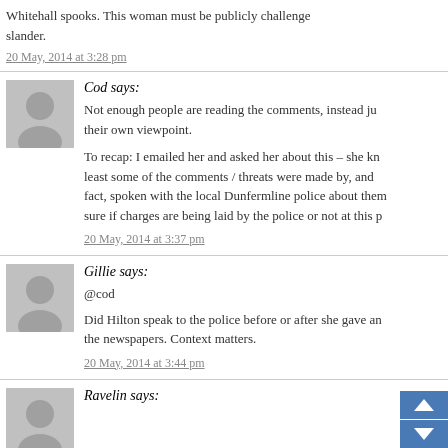Whitehall spooks. This woman must be publicly challenged slander.
20 May, 2014 at 3:28 pm
Cod says:
Not enough people are reading the comments, instead just their own viewpoint.
To recap: I emailed her and asked her about this – she knew at least some of the comments / threats were made by, and fact, spoken with the local Dunfermline police about them. sure if charges are being laid by the police or not at this p
20 May, 2014 at 3:37 pm
Gillie says:
@cod
Did Hilton speak to the police before or after she gave an the newspapers. Context matters.
20 May, 2014 at 3:44 pm
Ravelin says: